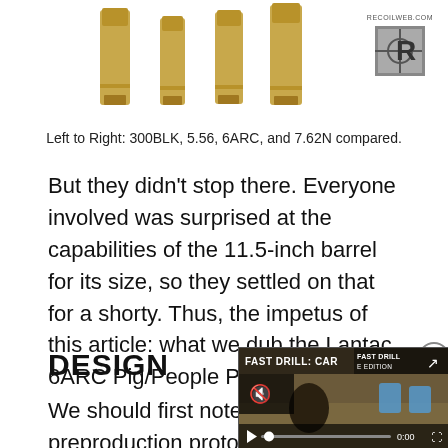[Figure (photo): Four brass cartridges standing upright, left to right: 300BLK, 5.56, 6ARC, 7.62N, shown for size comparison. Recoilweb.com logo in top right.]
Left to Right: 300BLK, 5.56, 6ARC, and 7.62N compared.
But they didn't stop there. Everyone involved was surprised at the capabilities of the 11.5-inch barrel for its size, so they settled on that for a shorty. Thus, the impetus of this article: what we dub the Lantac 6ARC Pig/People Popper.
DESIGN
We should first note that we were working with a preproduction prototype for this article, so some details may change prior to…